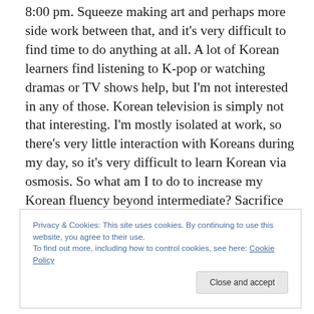8:00 pm. Squeeze making art and perhaps more side work between that, and it's very difficult to find time to do anything at all. A lot of Korean learners find listening to K-pop or watching dramas or TV shows help, but I'm not interested in any of those. Korean television is simply not that interesting. I'm mostly isolated at work, so there's very little interaction with Koreans during my day, so it's very difficult to learn Korean via osmosis. So what am I to do to increase my Korean fluency beyond intermediate? Sacrifice my evenings and take Korean classes.
Privacy & Cookies: This site uses cookies. By continuing to use this website, you agree to their use.
To find out more, including how to control cookies, see here: Cookie Policy
Close and accept